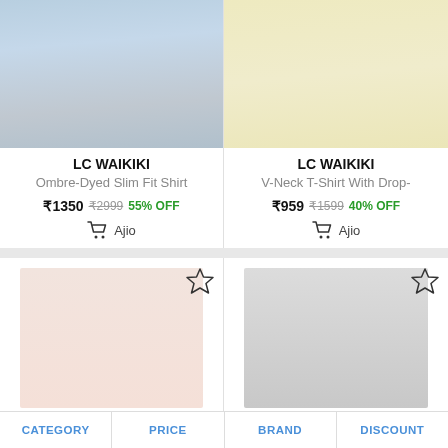[Figure (photo): LC Waikiki Ombre-Dyed Slim Fit Shirt product photo showing male model in light blue shirt and jeans]
LC WAIKIKI
Ombre-Dyed Slim Fit Shirt
₹1350 ₹2999 55% OFF
Ajio
[Figure (photo): LC Waikiki V-Neck T-Shirt With Drop- product photo showing female model in yellow outfit]
LC WAIKIKI
V-Neck T-Shirt With Drop-
₹959 ₹1599 40% OFF
Ajio
[Figure (photo): Pink women's V-neck top product photo]
[Figure (photo): Black women's V-neck t-shirt product photo]
CATEGORY
PRICE
BRAND
DISCOUNT